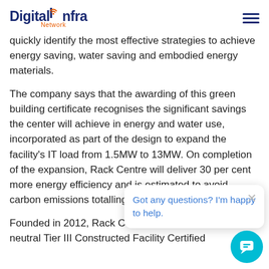Digital Infra Network
quickly identify the most effective strategies to achieve energy saving, water saving and embodied energy materials.
The company says that the awarding of this green building certificate recognises the significant savings the center will achieve in energy and water use, incorporated as part of the design to expand the facility's IT load from 1.5MW to 13MW. On completion of the expansion, Rack Centre will deliver 30 per cent more energy efficiency and is estimated to avoid carbon emissions totalling 100 tonnes each year.
Founded in 2012, Rack Centre is the first carbon neutral Tier III Constructed Facility Certified